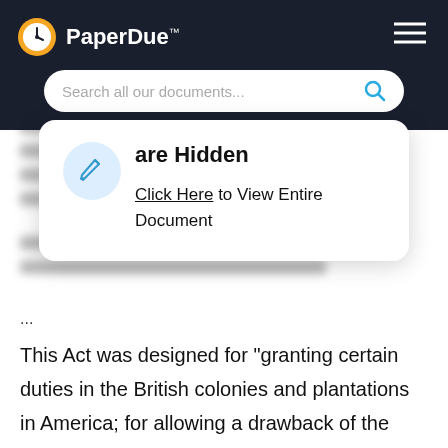PaperDue™
[Figure (screenshot): PaperDue website header with logo and search bar showing 'Search all our documents...']
[Figure (infographic): White popup overlay with pen icon, heading 'are Hidden', and link text 'Click Here to View Entire Document']
...
This Act was designed for "granting certain duties in the British colonies and plantations in America; for allowing a drawback of the duties of